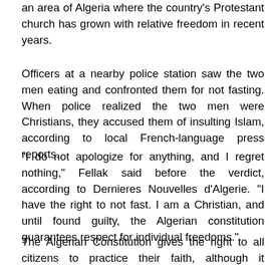an area of Algeria where the country's Protestant church has grown with relative freedom in recent years.
Officers at a nearby police station saw the two men eating and confronted them for not fasting. When police realized the two men were Christians, they accused them of insulting Islam, according to local French-language press reports.
“I do not apologize for anything, and I regret nothing,” Fellak said before the verdict, according to Dernieres Nouvelles d’Algerie. “I have the right to not fast. I am a Christian, and until found guilty, the Algerian constitution guarantees respect for individual freedoms.”
The Algerian Constitution gives the right to all citizens to practice their faith, although it declares Islam the state religion and prohibits institutions from behavior